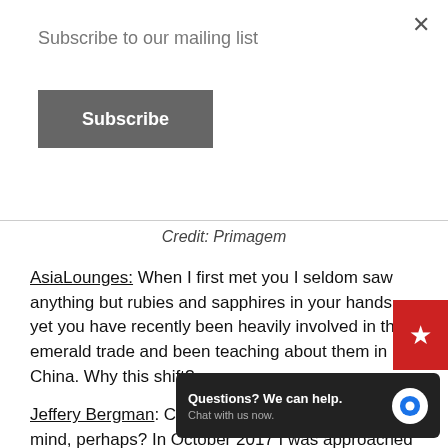Subscribe to our mailing list
Subscribe
Credit: Primagem
AsiaLounges: When I first met you I seldom saw anything but rubies and sapphires in your hands yet you have recently been heavily involved in the emerald trade and been teaching about them in China. Why this shift?
Jeffery Bergman: Chance favours the prepared mind, perhaps? In October 2017 I was approached by Ethiopians involved in the new emerald mine in the south. They were successful award-winning coffee producers by profession and & to take mining seriously ...